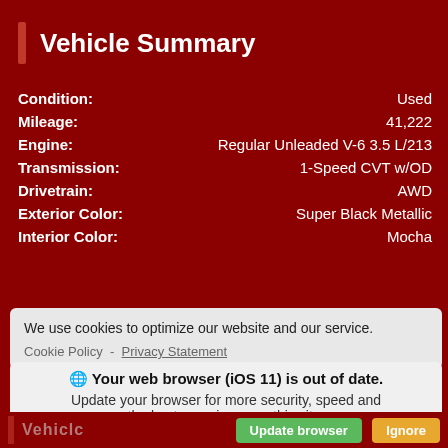Vehicle Summary
| Field | Value |
| --- | --- |
| Condition: | Used |
| Mileage: | 41,222 |
| Engine: | Regular Unleaded V-6 3.5 L/213 |
| Transmission: | 1-Speed CVT w/OD |
| Drivetrain: | AWD |
| Exterior Color: | Super Black Metallic |
| Interior Color: | Mocha |
[Figure (infographic): City MPG / Hwy MPG display showing large numbers 20/28 partially visible with a car icon]
We use cookies to optimize our website and our service.
Cookie Policy - Privacy Statement
Your web browser (iOS 11) is out of date. Update your browser for more security, speed and the best experience on this site.
Update browser   Ignore